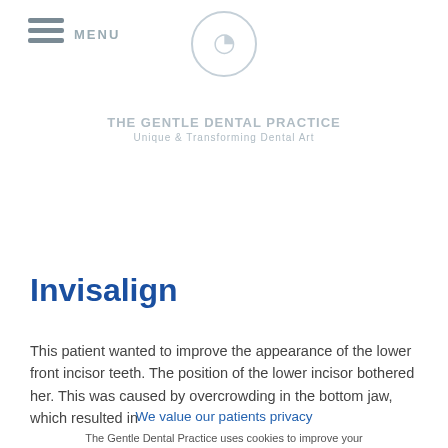MENU [logo] The Gentle Dental Practice – Unique & Transforming Dental Art
Invisalign
This patient wanted to improve the appearance of the lower front incisor teeth. The position of the lower incisor bothered her. This was caused by overcrowding in the bottom jaw, which resulted in
We value our patients privacy
The Gentle Dental Practice uses cookies to improve your